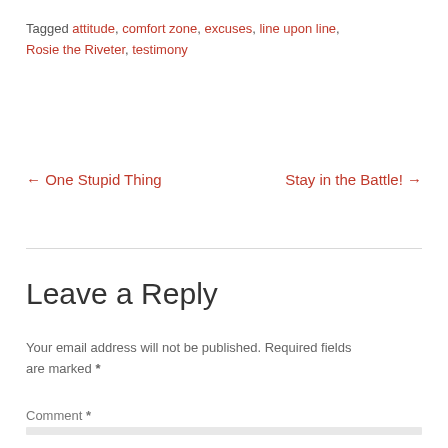Tagged attitude, comfort zone, excuses, line upon line, Rosie the Riveter, testimony
← One Stupid Thing    Stay in the Battle! →
Leave a Reply
Your email address will not be published. Required fields are marked *
Comment *